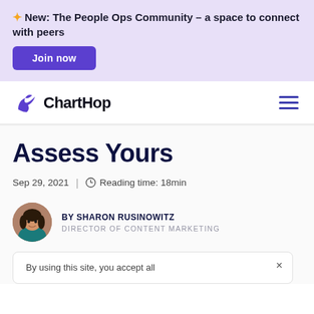✦ New: The People Ops Community – a space to connect with peers
Join now
[Figure (logo): ChartHop logo with bird/arrow icon and wordmark]
Assess Yours
Sep 29, 2021  |  ⊙ Reading time: 18min
BY SHARON RUSINOWITZ
DIRECTOR OF CONTENT MARKETING
By using this site, you accept all